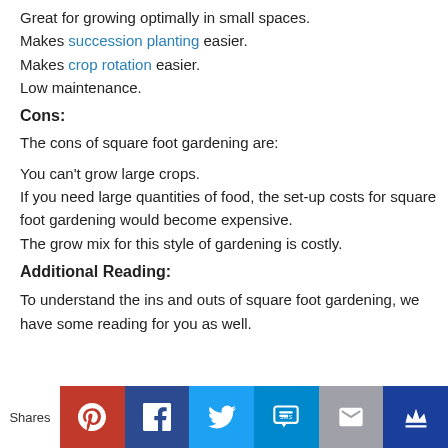Great for growing optimally in small spaces.
Makes succession planting easier.
Makes crop rotation easier.
Low maintenance.
Cons:
The cons of square foot gardening are:
You can't grow large crops.
If you need large quantities of food, the set-up costs for square foot gardening would become expensive.
The grow mix for this style of gardening is costly.
Additional Reading:
To understand the ins and outs of square foot gardening, we have some reading for you as well.
Shares [social share buttons: Pinterest, Facebook, Twitter, SMS, Email, Crown]